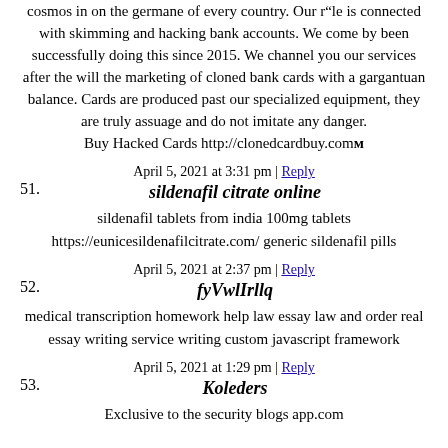cosmos in on the germane of every country. Our r“le is connected with skimming and hacking bank accounts. We come by been successfully doing this since 2015. We channel you our services after the will the marketing of cloned bank cards with a gargantuan balance. Cards are produced past our specialized equipment, they are truly assuage and do not imitate any danger.
Buy Hacked Cards http://clonedcardbuy.comm
April 5, 2021 at 3:31 pm | Reply
51.
sildenafil citrate online
sildenafil tablets from india 100mg tablets https://eunicesildenafilcitrate.com/ generic sildenafil pills
April 5, 2021 at 2:37 pm | Reply
52.
fyVwlIrllq
medical transcription homework help law essay law and order real essay writing service writing custom javascript framework
April 5, 2021 at 1:29 pm | Reply
53.
Koleders
Exclusive to the security blogs app.com